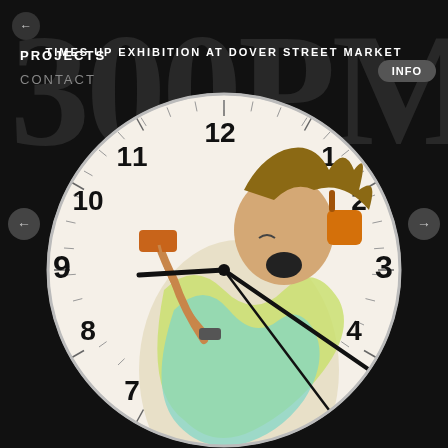PROJECTS    TIMES UP EXHIBITION AT DOVER STREET MARKET    INFO
CONTACT
[Figure (illustration): A large analog clock face with hour numbers 2-12 visible, clock hands pointing near 9:32, overlaid with a photograph of a person in a colorful swirling bodysuit wearing orange headphones and swinging an orange hammer, hair flying, mouth open.]